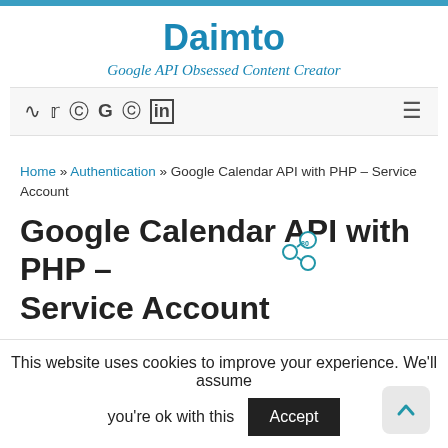Daimto
Google API Obsessed Content Creator
Home » Authentication » Google Calendar API with PHP – Service Account
Google Calendar API with PHP – Service Account
December 5, 2014  in  Authentication / Google Calendar API / PHP  tagged  Google Developers Console / Google Oauth2  by  Linda Lawton
This website uses cookies to improve your experience. We'll assume you're ok with this  Accept